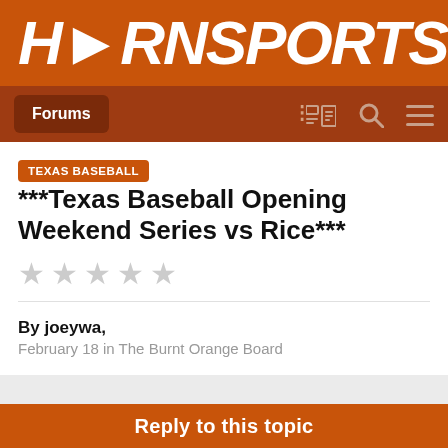HORNSPORTS
***Texas Baseball Opening Weekend Series vs Rice***
By joeywa, February 18 in The Burnt Orange Board
Reply to this topic